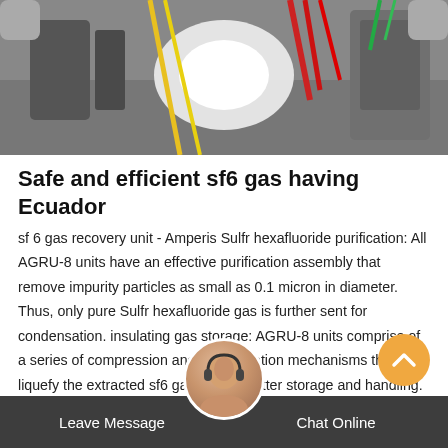[Figure (photo): Industrial equipment interior showing wires, tubes and bright light source — likely SF6 gas handling unit components]
Safe and efficient sf6 gas having Ecuador
sf 6 gas recovery unit - Amperis Sulfr hexafluoride purification: All AGRU-8 units have an effective purification assembly that remove impurity particles as small as 0.1 micron in diameter. Thus, only pure Sulfr hexafluoride gas is further sent for condensation. insulating gas storage: AGRU-8 units comprise of a series of compression and condensation mechanisms that liquefy the extracted sf6 gas gas for better storage and handling. The liquefied sf6 gas can then be stored in auxiliary bottles for on-site handling or transport. Regulating: AGRU-8 Sulfr hexafluoride recovery units
Leave Message    Chat Online